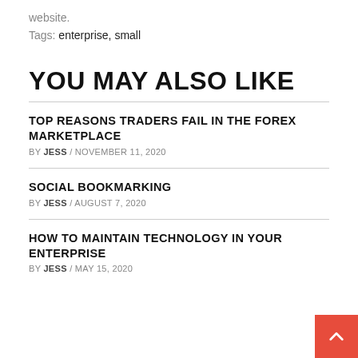website.
Tags: enterprise, small
YOU MAY ALSO LIKE
TOP REASONS TRADERS FAIL IN THE FOREX MARKETPLACE
BY JESS / NOVEMBER 11, 2020
SOCIAL BOOKMARKING
BY JESS / AUGUST 7, 2020
HOW TO MAINTAIN TECHNOLOGY IN YOUR ENTERPRISE
BY JESS / MAY 15, 2020